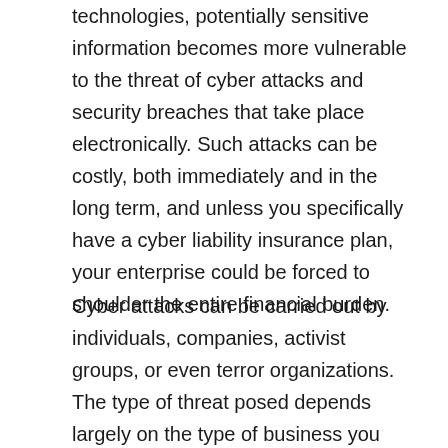technologies, potentially sensitive information becomes more vulnerable to the threat of cyber attacks and security breaches that take place electronically. Such attacks can be costly, both immediately and in the long term, and unless you specifically have a cyber liability insurance plan, your enterprise could be forced to shoulder the entire financial burden.
Cyber attacks can be carried out by individuals, companies, activist groups, or even terror organizations. The type of threat posed depends largely on the type of business you own. Information such as credit card numbers and PINs could be stolen for financial gain, sensitive information could be made